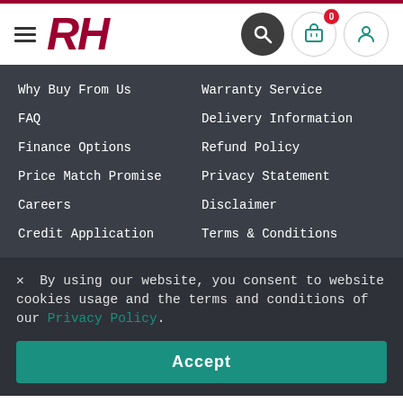RH - navigation header with hamburger menu, search, cart (0 items), and user icon
Why Buy From Us
Warranty Service
FAQ
Delivery Information
Finance Options
Refund Policy
Price Match Promise
Privacy Statement
Careers
Disclaimer
Credit Application
Terms & Conditions
✕  By using our website, you consent to website cookies usage and the terms and conditions of our Privacy Policy.
Accept